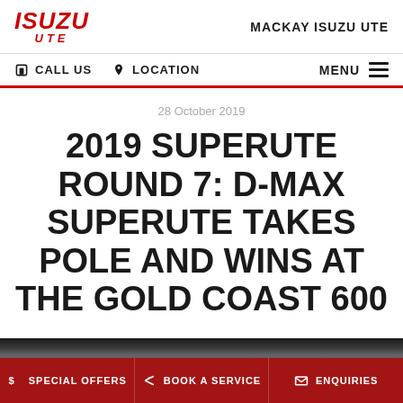ISUZU UTE | MACKAY ISUZU UTE
CALL US | LOCATION | MENU
28 October 2019
2019 SUPERUTE ROUND 7: D-MAX SUPERUTE TAKES POLE AND WINS AT THE GOLD COAST 600
[Figure (photo): Dark image strip at bottom of article preview]
SPECIAL OFFERS | BOOK A SERVICE | ENQUIRIES